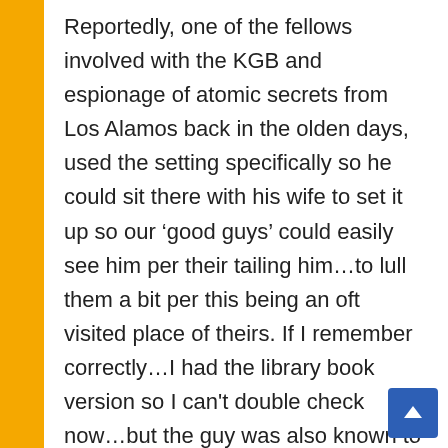Reportedly, one of the fellows involved with the KGB and espionage of atomic secrets from Los Alamos back in the olden days, used the setting specifically so he could sit there with his wife to set it up so our ‘good guys’ could easily see him per their tailing him…to lull them a bit per this being an oft visited place of theirs. If I remember correctly…I had the library book version so I can’t double check now…but the guy was also known to be a drinker so it would not be seen as